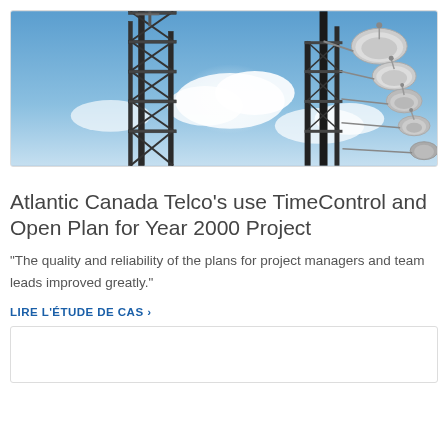[Figure (photo): Upward-angle photo of telecommunications towers with satellite dishes against a blue sky with clouds]
Atlantic Canada Telco's use TimeControl and Open Plan for Year 2000 Project
"The quality and reliability of the plans for project managers and team leads improved greatly."
LIRE L'ÉTUDE DE CAS ›